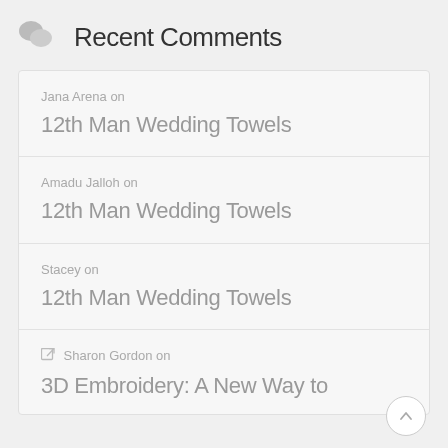Recent Comments
Jana Arena on 12th Man Wedding Towels
Amadu Jalloh on 12th Man Wedding Towels
Stacey on 12th Man Wedding Towels
Sharon Gordon on 3D Embroidery: A New Way to